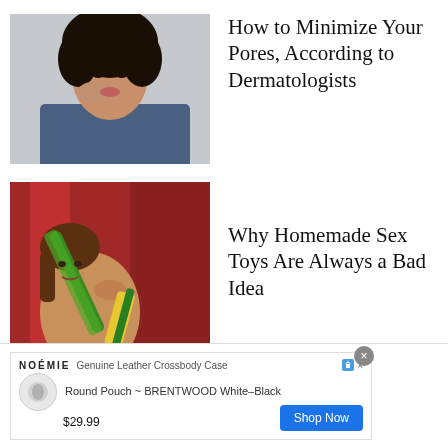[Figure (photo): Young woman with natural curly hair touching her face, wearing a denim jacket, against a light grey background]
How to Minimize Your Pores, According to Dermatologists
[Figure (photo): Classical painting style image of a reclining figure with vegetables including cucumber and corn, against a red draped background]
Why Homemade Sex Toys Are Always a Bad Idea
NOÉMIE  Genuine Leather Crossbody Case  Round Pouch ~ BRENTWOOD White–Black  $29.99  Shop Now